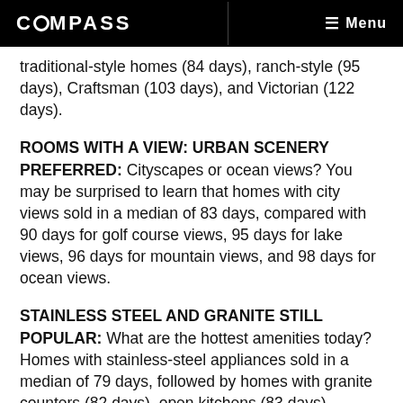COMPASS  Menu
traditional-style homes (84 days), ranch-style (95 days), Craftsman (103 days), and Victorian (122 days).
ROOMS WITH A VIEW: URBAN SCENERY PREFERRED:
Cityscapes or ocean views? You may be surprised to learn that homes with city views sold in a median of 83 days, compared with 90 days for golf course views, 95 days for lake views, 96 days for mountain views, and 98 days for ocean views.
STAINLESS STEEL AND GRANITE STILL POPULAR:
What are the hottest amenities today? Homes with stainless-steel appliances sold in a median of 79 days, followed by homes with granite counters (82 days), open kitchens (83 days), finished basements (89 days), and fireplaces (91 days)...